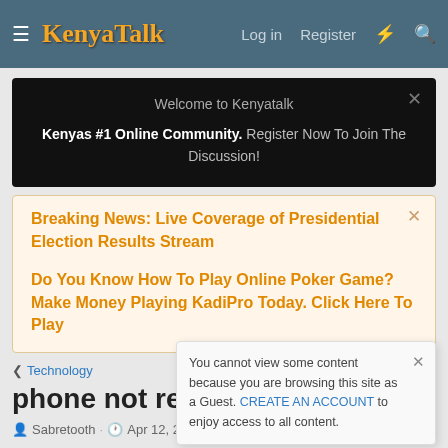KenyaTalk — Log in  Register
Welcome to Kenyatalk
Kenyas #1 Online Community. Register Now To Join The Discussion!
Breaking News: Live Coverage of Presidential Election Results Stream

Do You Know How To Play Online Poker Game? Make Money Playing KadiPro Today. Click Here To Play
Technology
phone not rec…
Sabretooth · Apr 12, 2019
You cannot view some content because you are browsing this site as a Guest. CREATE AN ACCOUNT to enjoy access to all content.